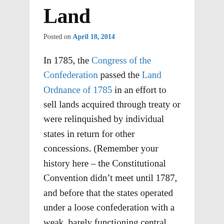Land
Posted on April 18, 2014
In 1785, the Congress of the Confederation passed the Land Ordnance of 1785 in an effort to sell lands acquired through treaty or were relinquished by individual states in return for other concessions. (Remember your history here – the Constitutional Convention didn’t meet until 1787, and before that the states operated under a loose confederation with a weak, barely functioning central government.) In 1785 the federal government was about broke, was facing crushing debt and needed to do something fast to generate cash. The